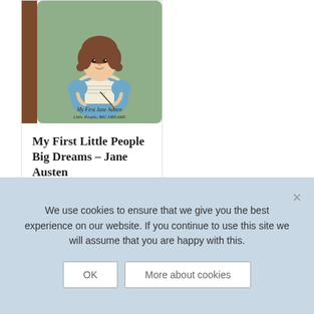[Figure (illustration): Book cover of 'My First Jane Austen – Little People, BIG DREAMS' showing an illustrated girl with brown hair in a blue dress writing, with a brown spine on the left and sage green background]
My First Little People Big Dreams – Jane Austen
£5.99
We use cookies to ensure that we give you the best experience on our website. If you continue to use this site we will assume that you are happy with this.
OK
More about cookies